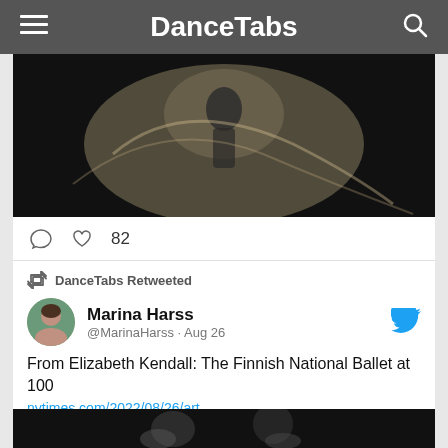DanceTabs
[Figure (photo): Dancer wrapped in flowing translucent fabric against a dark background]
💬  🤍 82
DanceTabs Retweeted
Marina Harss @MarinaHarss · Aug 26
From Elizabeth Kendall: The Finnish National Ballet at 100
nytimes.com/2022/08/26/art...
[Figure (photo): Black and white historical photo of two ballet performers on stage]